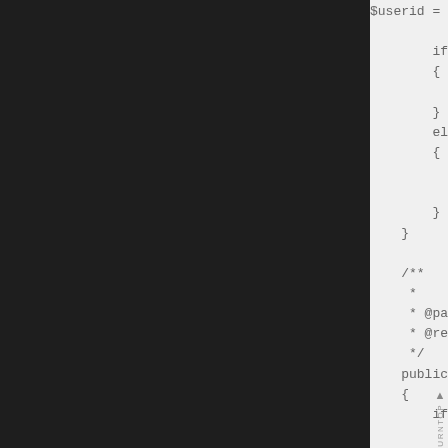[Figure (screenshot): Dark left panel (code editor sidebar) with black background]
$userid = $this->getUserIdBy

        if($userid > 0)
        {
                $this->userRemoveTol
        }
        else
        {
                return;

        }
    }

    /**
     *
     * @param $email
     * @return mixed
     */
    public function user_blacklist($
    {
        if(!$email) return;

        return addUserToBlackList($e
    }